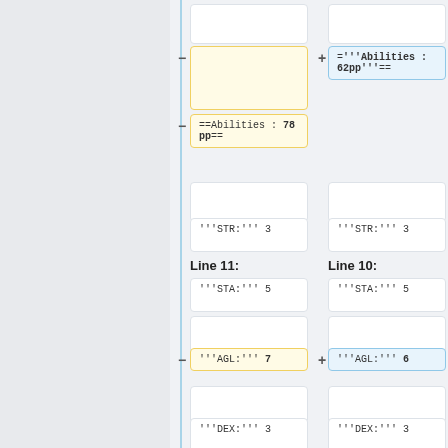[Figure (screenshot): Diff view of wiki/code showing two columns (Line 11 left, Line 10 right) with added/deleted boxes for Abilities section headers and stat lines (STR, STA, AGL, DEX)]
Line 11:
Line 10:
==Abilities : 78 pp==
==""'Abilities : 62pp'""==
'"STR:'" 3
'"STR:'" 3
'"STA:'" 5
'"STA:'" 5
'"AGL:'" 7
'"AGL:'" 6
'"DEX:'" 3
'"DEX:'" 3